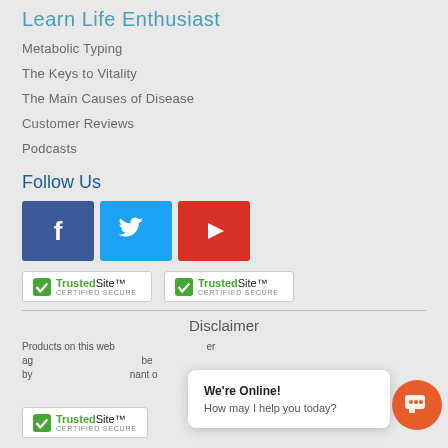Learn Life Enthusiast
Metabolic Typing
The Keys to Vitality
The Main Causes of Disease
Customer Reviews
Podcasts
Follow Us
[Figure (logo): Facebook, Twitter, and YouTube social media icons]
[Figure (logo): Two TrustedSite CERTIFIED SECURE badges]
Disclaimer
Products on this web... er age... s... be... by... fe... nant o...
We're Online! How may I help you today?